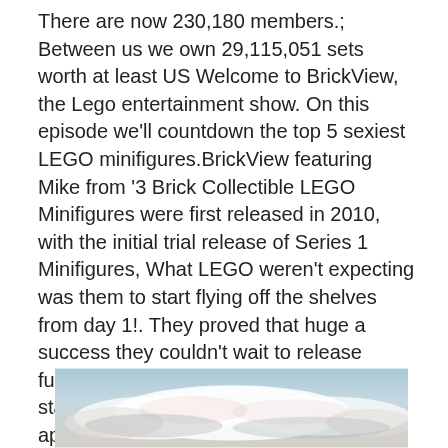There are now 230,180 members.; Between us we own 29,115,051 sets worth at least US Welcome to BrickView, the Lego entertainment show. On this episode we'll countdown the top 5 sexiest LEGO minifigures.BrickView featuring Mike from '3 Brick Collectible LEGO Minifigures were first released in 2010, with the initial trial release of Series 1 Minifigures, What LEGO weren't expecting was them to start flying off the shelves from day 1!. They proved that huge a success they couldn't wait to release further LEGO Minifigure ranges and started releasing one new series approximately every 4 Months. LEGO® Minifigurer fortsätter att växa med nya minifigurer i varje serie.
[Figure (photo): A photo showing a sky with clouds, partially cut off at the bottom of the page.]